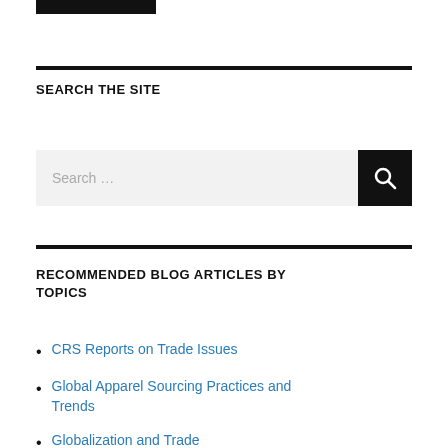[Figure (other): Black rectangular logo/image bar at top left]
SEARCH THE SITE
[Figure (other): Search input field with black search button containing magnifying glass icon]
RECOMMENDED BLOG ARTICLES BY TOPICS
CRS Reports on Trade Issues
Global Apparel Sourcing Practices and Trends
Globalization and Trade